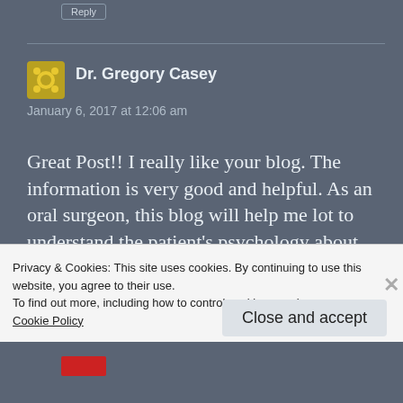Reply
Dr. Gregory Casey
January 6, 2017 at 12:06 am
Great Post!! I really like your blog. The information is very good and helpful. As an oral surgeon, this blog will help me lot to understand the patient’s psychology about tumor which will surely help in treatment.
Privacy & Cookies: This site uses cookies. By continuing to use this website, you agree to their use.
To find out more, including how to control cookies, see here: Cookie Policy
Close and accept